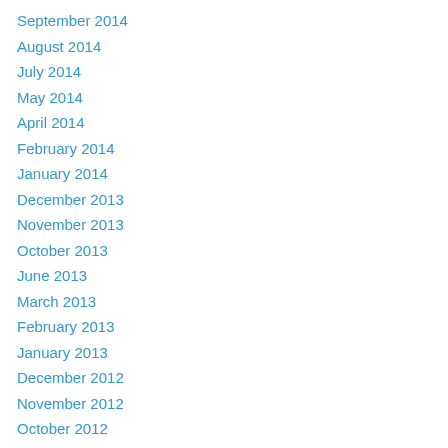September 2014
August 2014
July 2014
May 2014
April 2014
February 2014
January 2014
December 2013
November 2013
October 2013
June 2013
March 2013
February 2013
January 2013
December 2012
November 2012
October 2012
August 2012
July 2012
June 2012